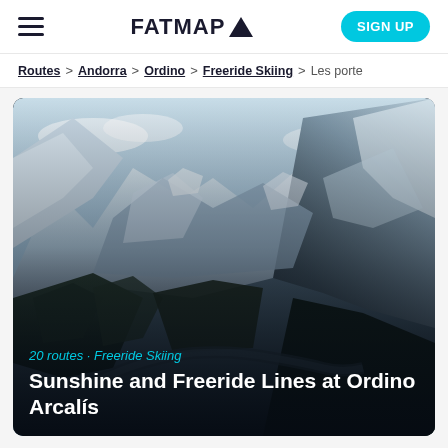FATMAP ▲
Routes > Andorra > Ordino > Freeride Skiing > Les porte
[Figure (photo): Aerial view of snow-covered mountain range in Andorra with a winding road visible in the valley below, dark forested slopes and white snow-capped peaks under a partly cloudy sky.]
20 routes · Freeride Skiing
Sunshine and Freeride Lines at Ordino Arcalís